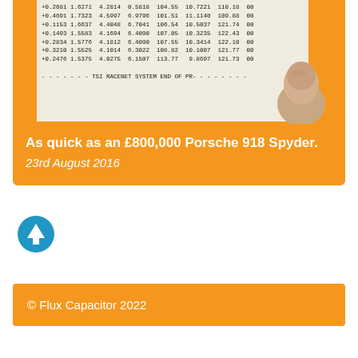[Figure (photo): Photo of a thermal printout showing numeric racing data (TSI RACENET SYSTEM), partially obscured by a thumb. The printout shows columns of numbers including times and lap data. The card has an orange background.]
As quick as an £800,000 Porsche 918 Spyder.
23rd August 2016
[Figure (other): Circular blue up-arrow icon]
© Flux Capacitor 2022